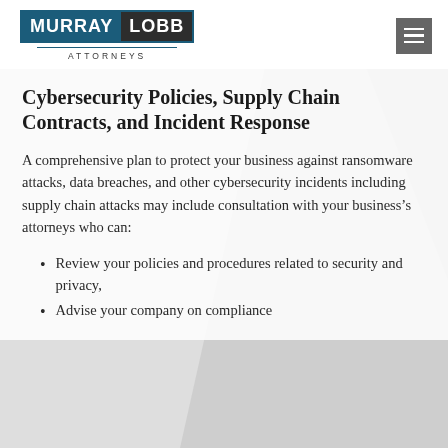Murray Lobb Attorneys
Cybersecurity Policies, Supply Chain Contracts, and Incident Response
A comprehensive plan to protect your business against ransomware attacks, data breaches, and other cybersecurity incidents including supply chain attacks may include consultation with your business’s attorneys who can:
Review your policies and procedures related to security and privacy,
Advise your company on compliance